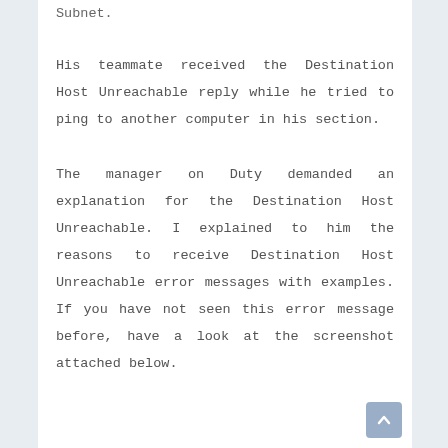Subnet.
His teammate received the Destination Host Unreachable reply while he tried to ping to another computer in his section.
The manager on Duty demanded an explanation for the Destination Host Unreachable. I explained to him the reasons to receive Destination Host Unreachable error messages with examples. If you have not seen this error message before, have a look at the screenshot attached below.